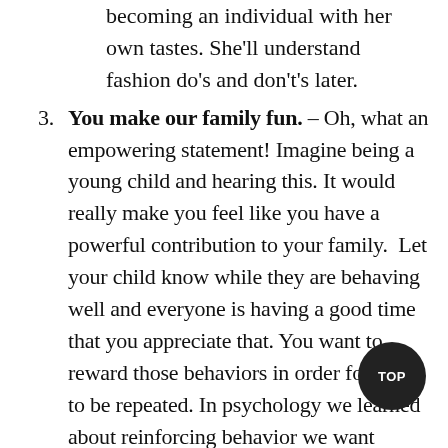becoming an individual with her own tastes. She'll understand fashion do's and don't's later.
You make our family fun. – Oh, what an empowering statement! Imagine being a young child and hearing this. It would really make you feel like you have a powerful contribution to your family.  Let your child know while they are behaving well and everyone is having a good time that you appreciate that. You want to reward those behaviors in order for them to be repeated. In psychology we learned about reinforcing behavior we want which is called Operant Conditioning. The reward they receive is your praise and there is nothing your children desire more.
I love that you are being honest. – This can be applied to any characteristic they are displaying, but make sure to give the compliment in the moment so that they connect what you are saying to the action they have made. Acknowledging their positive character